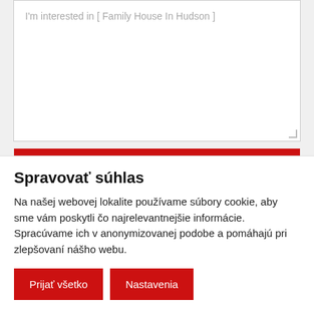I'm interested in [ Family House In Hudson ]
Send Email
Send Private Message
Spravovať súhlas
Na našej webovej lokalite používame súbory cookie, aby sme vám poskytli čo najrelevantnejšie informácie. Spracúvame ich v anonymizovanej podobe a pomáhajú pri zlepšovaní nášho webu.
Prijať všetko
Nastavenia